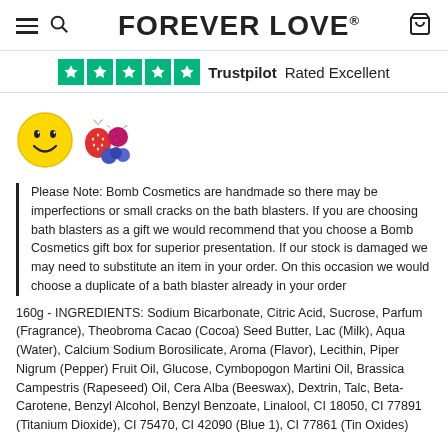FOREVER LOVE®
Trustpilot  Rated Excellent
[Figure (illustration): Smiley face emoji and berry/fruit emoji icons]
Please Note: Bomb Cosmetics are handmade so there may be imperfections or small cracks on the bath blasters. If you are choosing bath blasters as a gift we would recommend that you choose a Bomb Cosmetics gift box for superior presentation. If our stock is damaged we may need to substitute an item in your order. On this occasion we would choose a duplicate of a bath blaster already in your order
160g - INGREDIENTS: Sodium Bicarbonate, Citric Acid, Sucrose, Parfum (Fragrance), Theobroma Cacao (Cocoa) Seed Butter, Lac (Milk), Aqua (Water), Calcium Sodium Borosilicate, Aroma (Flavor), Lecithin, Piper Nigrum (Pepper) Fruit Oil, Glucose, Cymbopogon Martini Oil, Brassica Campestris (Rapeseed) Oil, Cera Alba (Beeswax), Dextrin, Talc, Beta-Carotene, Benzyl Alcohol, Benzyl Benzoate, Linalool, CI 18050, CI 77891 (Titanium Dioxide), CI 75470, CI 42090 (Blue 1), CI 77861 (Tin Oxides)